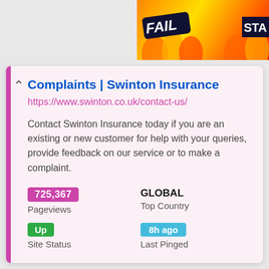[Figure (illustration): Top banner with colorful FAIL text and animated character on fire background, partially visible]
Complaints | Swinton Insurance
https://www.swinton.co.uk/contact-us/
Contact Swinton Insurance today if you are an existing or new customer for help with your queries, provide feedback on our service or to make a complaint.
725,367 Pageviews
GLOBAL Top Country
Up Site Status
8h ago Last Pinged